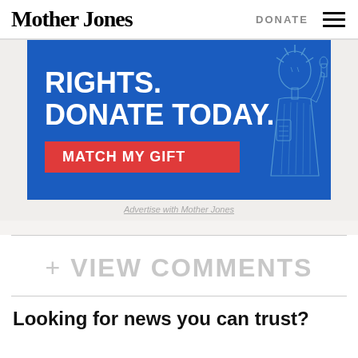Mother Jones | DONATE
[Figure (infographic): Blue donation banner ad with text 'RIGHTS. DONATE TODAY.' and a red 'MATCH MY GIFT' button, with an illustrated statue of liberty on the right side]
Advertise with Mother Jones
+ VIEW COMMENTS
Looking for news you can trust?